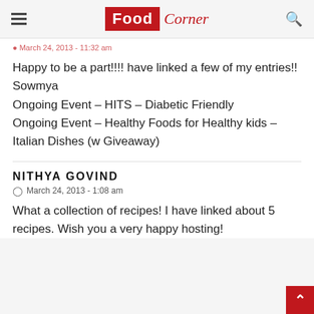Food Corner
March 24, 2013 - (partial date/time)
Happy to be a part!!!! have linked a few of my entries!!
Sowmya
Ongoing Event – HITS – Diabetic Friendly
Ongoing Event – Healthy Foods for Healthy kids – Italian Dishes (w Giveaway)
NITHYA GOVIND
March 24, 2013 - 1:08 am
What a collection of recipes! I have linked about 5 recipes. Wish you a very happy hosting!